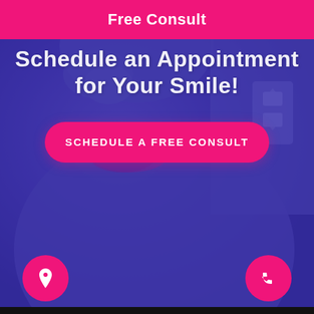Free Consult
Schedule an Appointment for Your Smile!
SCHEDULE A FREE CONSULT
[Figure (illustration): Pink location pin icon in a circular hot pink button at bottom left]
[Figure (illustration): Phone/call icon in a circular hot pink button at bottom right]